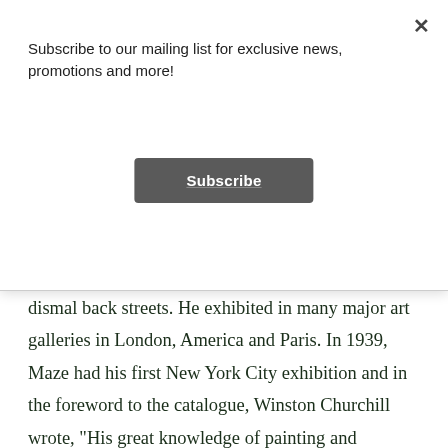Subscribe to our mailing list for exclusive news, promotions and more!
Subscribe
dismal back streets. He exhibited in many major art galleries in London, America and Paris. In 1939, Maze had his first New York City exhibition and in the foreword to the catalogue, Winston Churchill wrote, "His great knowledge of painting and draughtsmanship have enabled him to perfect his remarkable gift. With the fewest of strokes, he can create an